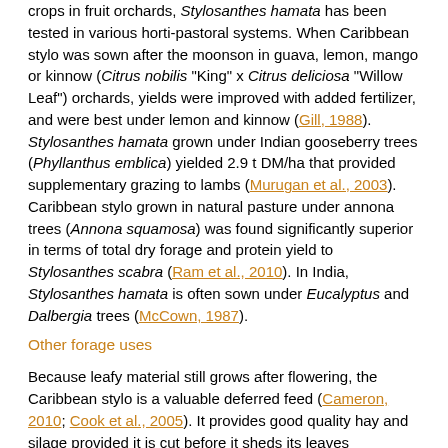crops in fruit orchards, Stylosanthes hamata has been tested in various horti-pastoral systems. When Caribbean stylo was sown after the moonson in guava, lemon, mango or kinnow (Citrus nobilis "King" x Citrus deliciosa "Willow Leaf") orchards, yields were improved with added fertilizer, and were best under lemon and kinnow (Gill, 1988). Stylosanthes hamata grown under Indian gooseberry trees (Phyllanthus emblica) yielded 2.9 t DM/ha that provided supplementary grazing to lambs (Murugan et al., 2003). Caribbean stylo grown in natural pasture under annona trees (Annona squamosa) was found significantly superior in terms of total dry forage and protein yield to Stylosanthes scabra (Ram et al., 2010). In India, Stylosanthes hamata is often sown under Eucalyptus and Dalbergia trees (McCown, 1987).
Other forage uses
Because leafy material still grows after flowering, the Caribbean stylo is a valuable deferred feed (Cameron, 2010; Cook et al., 2005). It provides good quality hay and silage provided it is cut before it sheds its leaves (Cameron, 2010).
Environmental impact
Soil improver and cover crop
The Caribbean stylo is a freely nodulating N-fixing legume. It provides N to the soil, available to both associated and subsequent crops/grasses. Stylosanthes hamata is considered a good green manure or ley legume. In the uplands of Thailand, it has been intercropped with cassava to preserve the top-soil and improve fertility (Gibson, 1987). It has been used as mulch after herbicide